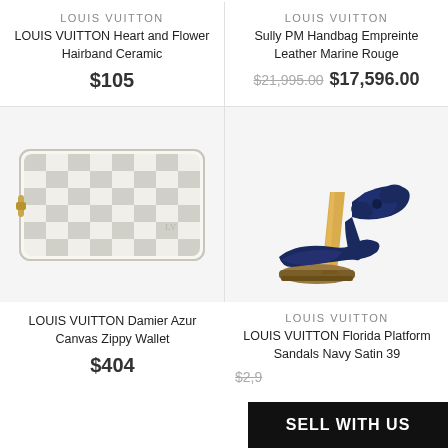LOUIS VUITTON
LOUIS VUITTON Heart and Flower Hairband Ceramic
$105
LOUIS VUITTON
Sully PM Handbag Empreinte Leather Marine Rouge
$21,995.00 $17,596.00
[Figure (photo): Louis Vuitton Damier Azur checkered white and grey canvas zippy wallet with gold zipper]
[Figure (photo): Navy blue satin platform sandal high heel shoe with transparent amber heel]
LOUIS VUITTON Damier Azur Canvas Zippy Wallet
$404
LOUIS VUITTON
LOUIS VUITTON Florida Platform Sandals Navy Satin 39
$2,9...
SELL WITH US